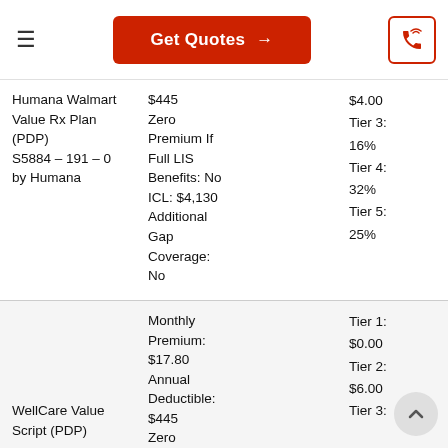Get Quotes →
| Plan Name | Plan Details | Copay/Coinsurance |
| --- | --- | --- |
| Humana Walmart Value Rx Plan (PDP) S5884 – 191 – 0 by Humana | $445 Zero Premium If Full LIS Benefits: No ICL: $4,130 Additional Gap Coverage: No | $4.00 Tier 3: 16% Tier 4: 32% Tier 5: 25% |
| WellCare Value Script (PDP) | Monthly Premium: $17.80 Annual Deductible: $445 Zero | Tier 1: $0.00 Tier 2: $6.00 Tier 3: |